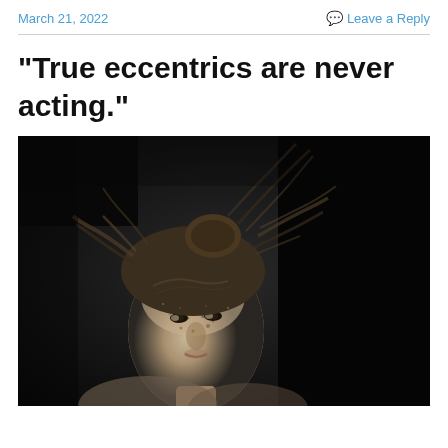March 21, 2022    💬 Leave a Reply
“True eccentrics are never acting.”
[Figure (photo): Black and white portrait photograph of a young person with windswept hair and freckled face covered in what appears to be dust or sand, against a dark background.]